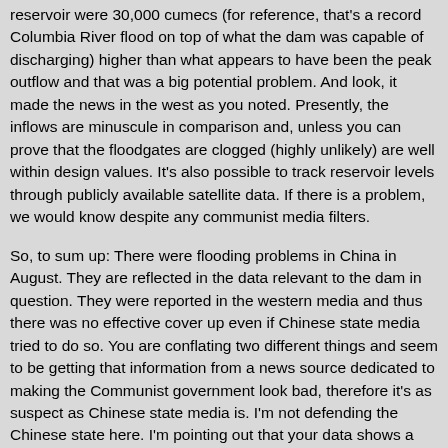reservoir were 30,000 cumecs (for reference, that's a record Columbia River flood on top of what the dam was capable of discharging) higher than what appears to have been the peak outflow and that was a big potential problem. And look, it made the news in the west as you noted. Presently, the inflows are minuscule in comparison and, unless you can prove that the floodgates are clogged (highly unlikely) are well within design values. It's also possible to track reservoir levels through publicly available satellite data. If there is a problem, we would know despite any communist media filters.
So, to sum up: There were flooding problems in China in August. They are reflected in the data relevant to the dam in question. They were reported in the western media and thus there was no effective cover up even if Chinese state media tried to do so. You are conflating two different things and seem to be getting that information from a news source dedicated to making the Communist government look bad, therefore it's as suspect as Chinese state media is. I'm not defending the Chinese state here. I'm pointing out that your data shows a nothingburger and I think you should exercise better media judgement or, at least, not spread speculative disaster narratives.
The important story here was in August and the ongoing story is that if that can happen in 2020, with climate change and associated increased